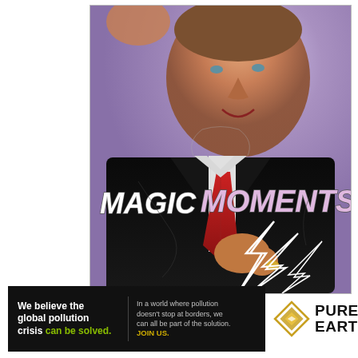[Figure (photo): A man in a dark suit with a red tie, smiling, with text 'MAGIC MOMENTS' overlaid on his jacket. The background is a purple/lavender textured color. Lightning bolt shapes are visible in the lower right portion of the image. The image has a collage/artistic quality.]
[Figure (infographic): Pure Earth advertisement banner. Black background with white bold text 'We believe the global pollution crisis can be solved.' where 'can be solved.' is in green. Right side has smaller text 'In a world where pollution doesn't stop at borders, we can all be part of the solution. JOIN US.' with JOIN US in yellow/gold. To the right is the Pure Earth logo with a diamond/triangle icon and the words PURE EARTH in large bold dark text.]